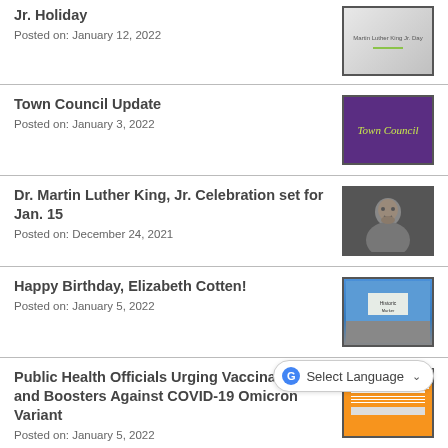Jr. Holiday
Posted on: January 12, 2022
[Figure (photo): Martin Luther King Jr. Day banner graphic]
Town Council Update
Posted on: January 3, 2022
[Figure (photo): Purple banner with 'Town Council' text in yellow-green italic font]
Dr. Martin Luther King, Jr. Celebration set for Jan. 15
Posted on: December 24, 2021
[Figure (photo): Black and white portrait of Dr. Martin Luther King Jr.]
Happy Birthday, Elizabeth Cotten!
Posted on: January 5, 2022
[Figure (photo): Outdoor sign/marker with blue sky background]
Public Health Officials Urging Vaccination and Boosters Against COVID-19 Omicron Variant
Posted on: January 5, 2022
[Figure (photo): Orange COVID-19 vaccination information flyer]
Carrboro This Week